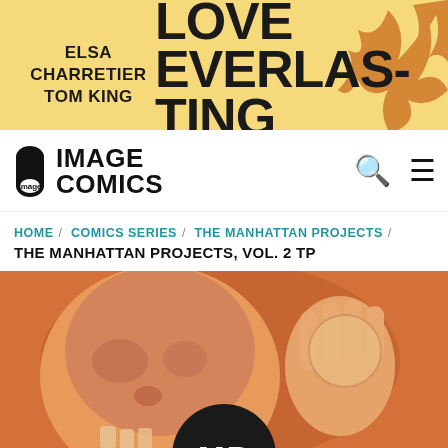[Figure (illustration): Banner advertisement for 'Love Everlasting' comic by Elsa Charretier and Tom King on a yellow background with orange flame/leaf motifs]
[Figure (logo): Image Comics logo with icon and bold text 'IMAGE COMICS']
HOME / COMICS SERIES / THE MANHATTAN PROJECTS / THE MANHATTAN PROJECTS, VOL. 2 TP
[Figure (illustration): Cover art for The Manhattan Projects Vol. 2 TP showing a skull and hand on an orange background with a dark circular MP logo badge at bottom]